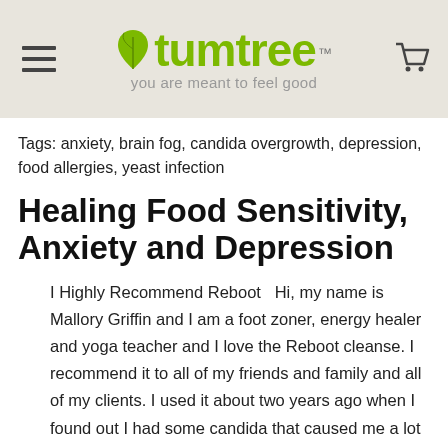tumtree™ — you are meant to feel good
Tags: anxiety, brain fog, candida overgrowth, depression, food allergies, yeast infection
Healing Food Sensitivity, Anxiety and Depression
I Highly Recommend Reboot   Hi, my name is Mallory Griffin and I am a foot zoner, energy healer and yoga teacher and I love the Reboot cleanse. I recommend it to all of my friends and family and all of my clients. I used it about two years ago when I found out I had some candida that caused me a lot of problems. So I